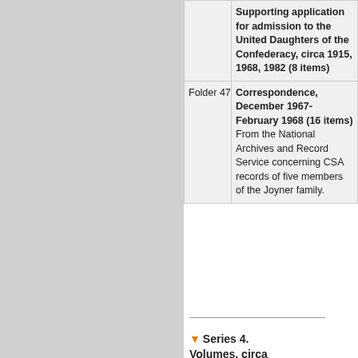| Folder | Description |
| --- | --- |
|  | Supporting application for admission to the United Daughters of the Confederacy, circa 1915, 1968, 1982 (8 items) |
| Folder 47 | Correspondence, December 1967-February 1968 (16 items)
From the National Archives and Record Service concerning CSA records of five members of the Joyner family. |
Back to Top
Series 4. Volumes, circa